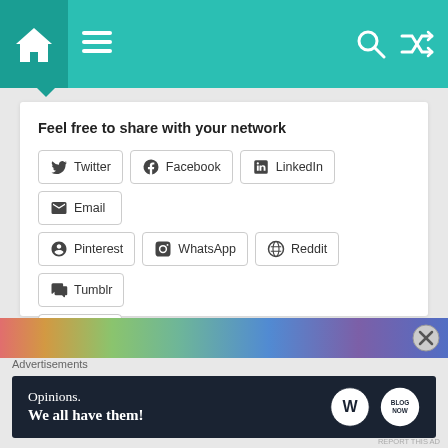Navigation bar with home, menu, search and shuffle icons
Feel free to share with your network
Twitter
Facebook
LinkedIn
Email
Pinterest
WhatsApp
Reddit
Tumblr
More
Like this:
Loading...
Advertisements
[Figure (screenshot): Advertisement banner: Opinions. We all have them! with WordPress and Blog Now logos on dark navy background]